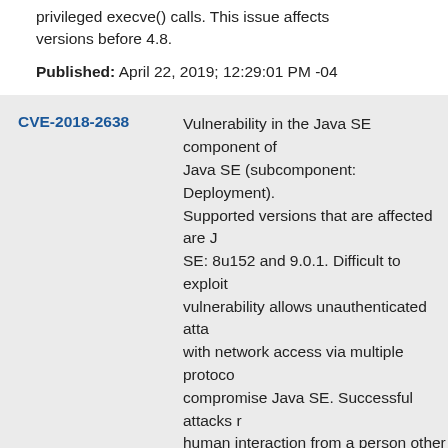privileged execve() calls. This issue affects versions before 4.8.
Published: April 22, 2019; 12:29:01 PM -04
CVE-2018-2638
Vulnerability in the Java SE component of Java SE (subcomponent: Deployment). Supported versions that are affected are Java SE: 8u152 and 9.0.1. Difficult to exploit vulnerability allows unauthenticated attacker with network access via multiple protocols to compromise Java SE. Successful attacks require human interaction from a person other than the attacker and while the vulnerability is in Java SE, attacks may significantly impact additional products. Successful attacks of this vulnerability can result in takeover of Java SE. Note: This vulnerability applies to Java deployments, typically in clients running sandboxed Ja